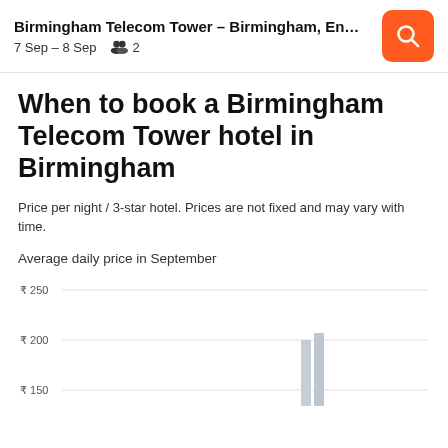Birmingham Telecom Tower – Birmingham, En… 7 Sep – 8 Sep  2
When to book a Birmingham Telecom Tower hotel in Birmingham
Price per night / 3-star hotel. Prices are not fixed and may vary with time.
Average daily price in September
[Figure (bar-chart): Bar chart showing average daily hotel prices in September. Y-axis shows ₹ 150, ₹ 200, ₹ 250. Bars visible near day 24-25 reaching approximately ₹200.]